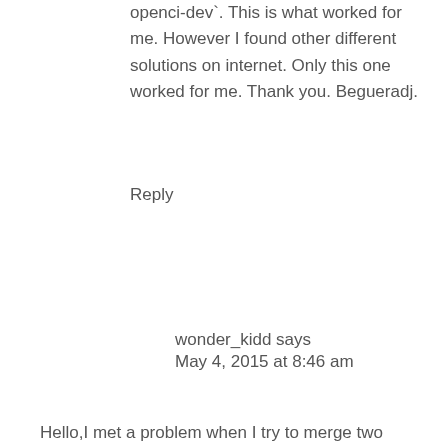openci-dev`. This is what worked for me. However I found other different solutions on internet. Only this one worked for me. Thank you. Begueradj.
Reply
wonder_kidd says
May 4, 2015 at 8:46 am
Hello,I met a problem when I try to merge two